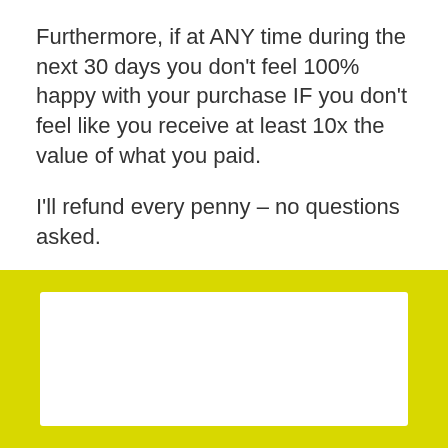Furthermore, if at ANY time during the next 30 days you don't feel 100% happy with your purchase IF you don't feel like you receive at least 10x the value of what you paid.
I'll refund every penny – no questions asked.
It really is that simple.
Dr. Steve G. Jones
[Figure (other): Yellow/olive background section with a white rectangle video/content box visible at the bottom of the page]